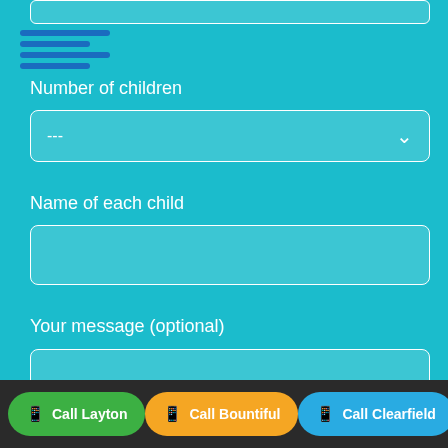[Figure (screenshot): Partial input field at top of page (cut off)]
[Figure (other): Navigation/hamburger menu lines in blue]
Number of children
[Figure (other): Dropdown select box with --- and chevron]
Name of each child
[Figure (other): Text input box for name of each child]
Your message (optional)
[Figure (other): Textarea box for message]
[Figure (other): Partial reCAPTCHA widget visible at bottom right]
Call Layton | Call Bountiful | Call Clearfield